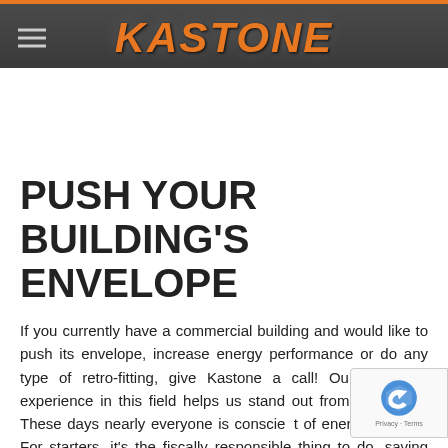KASTONE
PUSH YOUR BUILDING'S ENVELOPE
If you currently have a commercial building and would like to push its envelope, increase energy performance or do any type of retro-fitting, give Kastone a call! Our extensive experience in this field helps us stand out from the crowd. These days nearly everyone is conscious of energy savings. For starters, it's the fiscally responsible thing to do, saving money for your organization. It's also environmentally sound, a